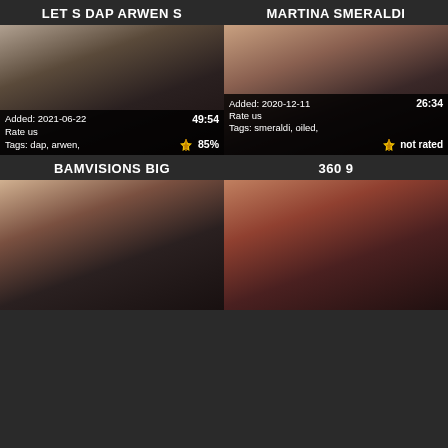LET S DAP ARWEN S
[Figure (photo): Video thumbnail for LET S DAP ARWEN S with overlay: Added: 2021-06-22, duration 49:54, Rate us, Tags: dap, arwen, 85% rating]
MARTINA SMERALDI
[Figure (photo): Video thumbnail for MARTINA SMERALDI with overlay: Added: 2020-12-11, duration 26:34, Rate us, Tags: smeraldi, oiled, not rated]
BAMVISIONS BIG
360 9
[Figure (photo): Video thumbnail for BAMVISIONS BIG]
[Figure (photo): Video thumbnail for 360 9]